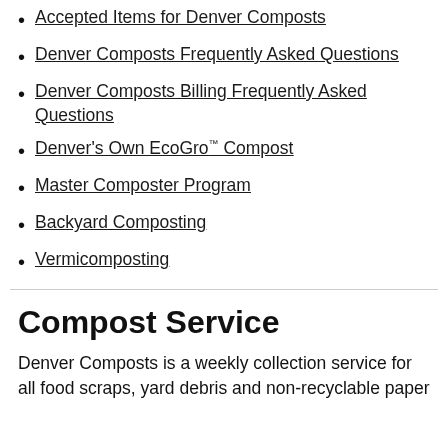Accepted Items for Denver Composts
Denver Composts Frequently Asked Questions
Denver Composts Billing Frequently Asked Questions
Denver's Own EcoGro™ Compost
Master Composter Program
Backyard Composting
Vermicomposting
Compost Service
Denver Composts is a weekly collection service for all food scraps, yard debris and non-recyclable paper